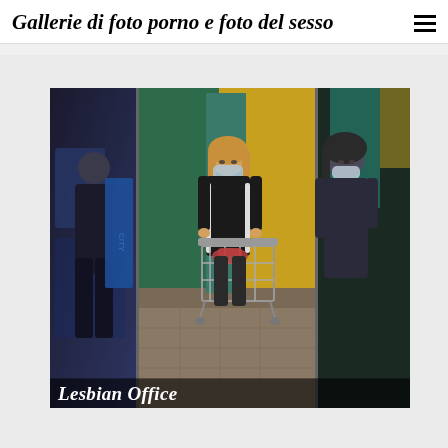Gallerie di foto porno e foto del sesso
[Figure (photo): CCTV triptych showing three panels of surveillance footage of people in a store/building, wearing masks. Center panel shows a woman with blonde hair wearing a black and white tracksuit pushing a shopping cart.]
Lesbian Office